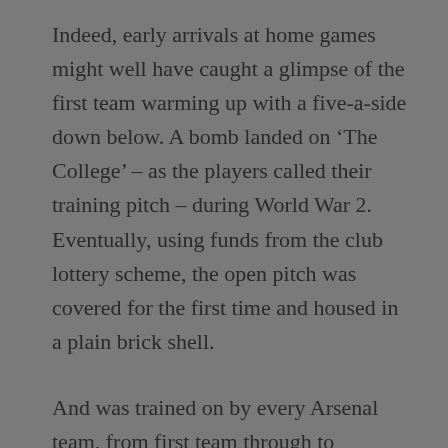Indeed, early arrivals at home games might well have caught a glimpse of the first team warming up with a five-a-side down below. A bomb landed on ‘The College’ – as the players called their training pitch – during World War 2. Eventually, using funds from the club lottery scheme, the open pitch was covered for the first time and housed in a plain brick shell.
And was trained on by every Arsenal team, from first team through to schoolboys. Since 2000, players have spent the working week out at Shenley and, for 40 years previously, Arsenal used training facilities at the University College grounds next door. Up until 1961, though, the playing staff made...